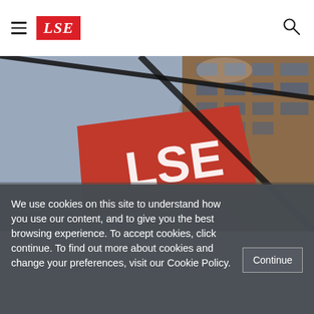LSE
[Figure (photo): Low-angle fisheye photo of LSE (London School of Economics) building exterior. A large red sign with white 'LSE' lettering is prominently shown at an angle, with brick buildings and sky in the background. Dramatic diagonal black lines (steel cables or beams) cross the image.]
We use cookies on this site to understand how you use our content, and to give you the best browsing experience. To accept cookies, click continue. To find out more about cookies and change your preferences, visit our Cookie Policy.